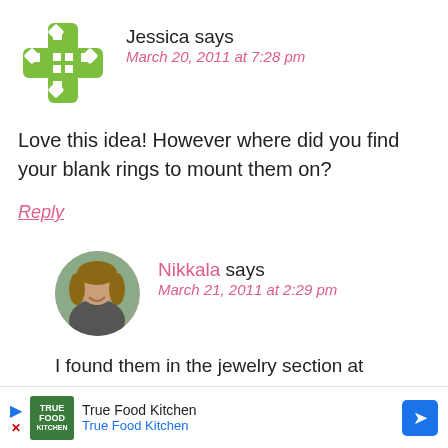Jessica says
March 20, 2011 at 7:28 pm
Love this idea! However where did you find your blank rings to mount them on?
Reply
Nikkala says
March 21, 2011 at 2:29 pm
I found them in the jewelry section at
True Food Kitchen
True Food Kitchen